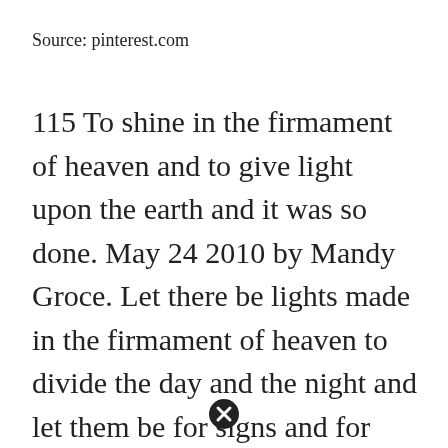Source: pinterest.com
115 To shine in the firmament of heaven and to give light upon the earth and it was so done. May 24 2010 by Mandy Groce. Let there be lights made in the firmament of heaven to divide the day and the night and let them be for signs and for seasons and for days and years. A greater light to rule the day. Creation Coloring Pages Pdf For Preschoolers Free Coloring Sheets Creation Coloring Page Star Coloring Page